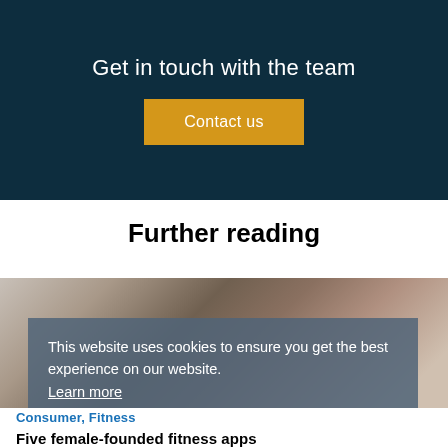Get in touch with the team
Contact us
Further reading
[Figure (photo): Group of women in fitness attire celebrating together, fist bumping]
This website uses cookies to ensure you get the best experience on our website. Learn more
Got it
Consumer, Fitness
Five female-founded fitness apps